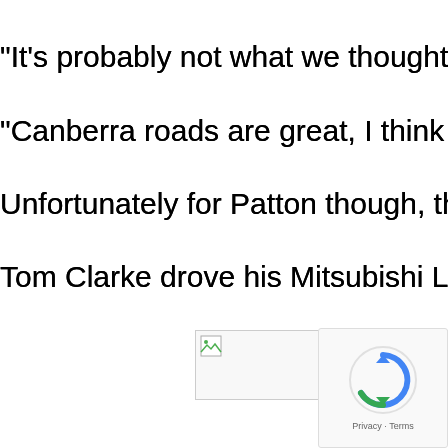“It’s probably not what we thought would happen this weekend,
“Canberra roads are great, I think a lot of people got here to driv
Unfortunately for Patton though, this is likely to be his only ARC
Tom Clarke drove his Mitsubishi Lancer Evo IX to third in heat tw
In typical Canberra fashion, the roads took their toll on teams, w
Innate Motorsport and Events’ Adrian Coppin had intercom issu
Windus’ pace was strong before brake failure sent him off the ro
[Figure (photo): Broken image placeholder]
[Figure (other): reCAPTCHA privacy badge with logo]